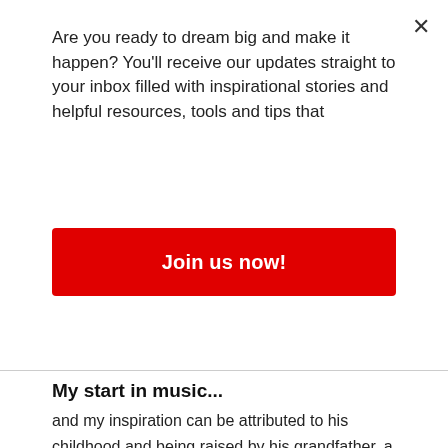Are you ready to dream big and make it happen? You'll receive our updates straight to your inbox filled with inspirational stories and helpful resources, tools and tips that
Join us now!
My start in music...
and my inspiration can be attributed to his childhood and being raised by his grandfather, a fiery Gospel preacher from the south and former " Honkie Tonk" musician himself during the 30's and 40's playing in the juke joints around Chicago. Then there was my Mother who was a Gospel organist playing around town at area churches. My Aunt was a well known Gospel singer who sang in a women's group. She has been compared to the likes of Pastor Shirley Ceasar, the great Gladys